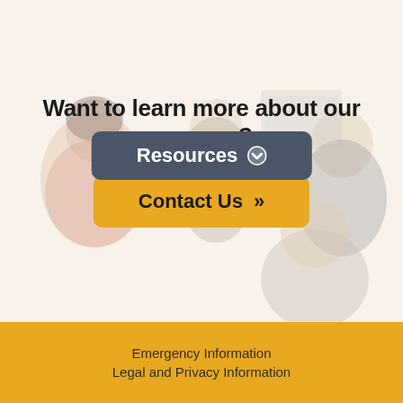[Figure (photo): Background photo of people in a classroom or meeting setting — a woman in the foreground, two men in the background near a computer screen, faded/washed-out warm tones]
Want to learn more about our courses?
Contact Us »
Resources ⌄
Emergency Information
Legal and Privacy Information